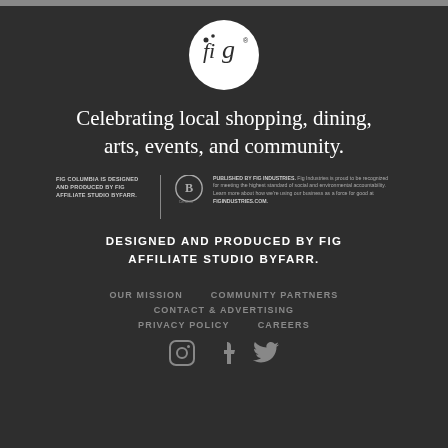[Figure (logo): Fig logo: white circle with stylized 'fig' lettering in dark color]
Celebrating local shopping, dining, arts, events, and community.
FIG COLUMBIA IS DESIGNED AND PRODUCED BY FIG AFFILIATE STUDIO BYFARR.
[Figure (logo): Certified B Corporation logo circle]
PUBLISHED BY FIG INDUSTRIES. Fig Industries is proud to be recognized for meeting the highest standard of social and environmental accountability. Learn more about how we're using our business as a force for good at FIGINDUSTRIES.COM.
DESIGNED AND PRODUCED BY FIG AFFILIATE STUDIO BYFARR.
OUR MISSION
COMMUNITY PARTNERS
CONTACT & ADVERTISING
PRIVACY POLICY
CAREERS
[Figure (illustration): Instagram, Facebook, and Twitter social media icons in white]